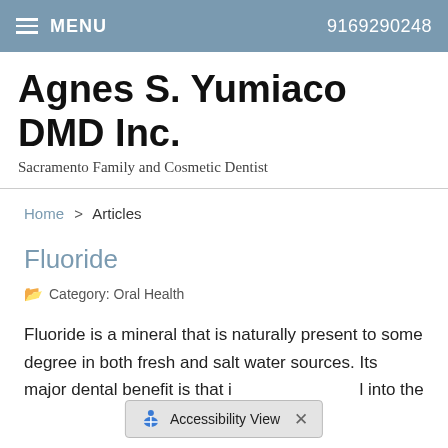MENU   9169290248
Agnes S. Yumiaco DMD Inc.
Sacramento Family and Cosmetic Dentist
Home > Articles
Fluoride
Category: Oral Health
Fluoride is a mineral that is naturally present to some degree in both fresh and salt water sources. Its major dental benefit is that i ... l into the